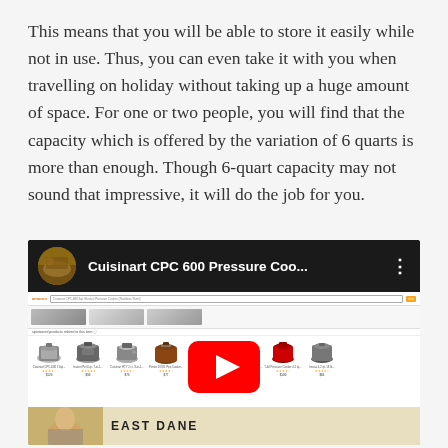This means that you will be able to store it easily while not in use. Thus, you can even take it with you when travelling on holiday without taking up a huge amount of space. For one or two people, you will find that the capacity which is offered by the variation of 6 quarts is more than enough. Though 6-quart capacity may not sound that impressive, it will do the job for you.
[Figure (screenshot): YouTube video thumbnail showing 'Cuisinart CPC 600 Pressure Coo...' with a circular room/kitchen thumbnail, video title bar, and below it an Amazon product search results page showing various pressure cookers and kitchen appliances, with a YouTube play button overlay in the center, and an East Dane advertisement strip at the bottom.]